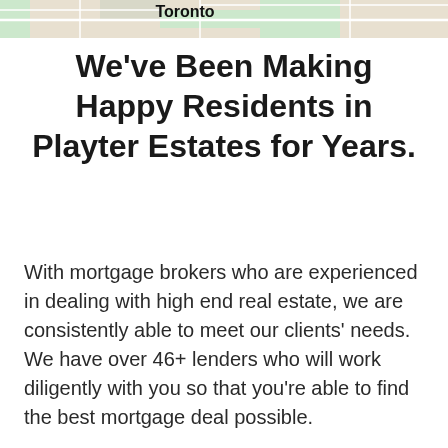[Figure (map): Partial map screenshot showing Toronto area with location label 'Tommy' in green italic text]
We've Been Making Happy Residents in Playter Estates for Years.
With mortgage brokers who are experienced in dealing with high end real estate, we are consistently able to meet our clients' needs. We have over 46+ lenders who will work diligently with you so that you're able to find the best mortgage deal possible.